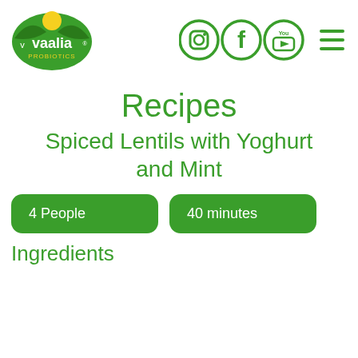[Figure (logo): Vaalia Probiotics logo - green leaf shape with yellow sun and white text]
[Figure (infographic): Social media icons: Instagram, Facebook, YouTube circles in green, and hamburger menu icon]
Recipes
Spiced Lentils with Yoghurt and Mint
4 People
40 minutes
Ingredients